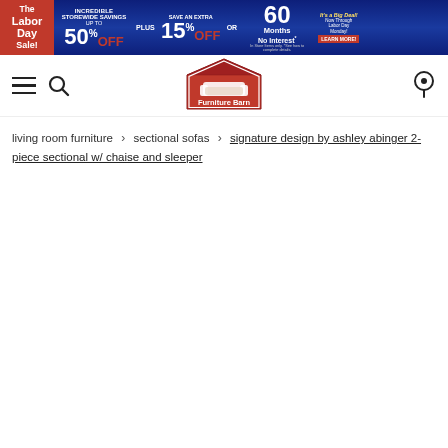[Figure (screenshot): Furniture Barn Labor Day Sale banner advertisement: INCREDIBLE STOREWIDE SAVINGS UP TO 50% OFF PLUS SAVE AN EXTRA 15% OFF OR 60 Months No Interest. It's a Big Deal Now Through Labor Day Monday! LEARN MORE]
[Figure (logo): Furniture Barn logo - red barn-shaped icon with sofa illustration and text 'Furniture Barn']
living room furniture > sectional sofas > signature design by ashley abinger 2-piece sectional w/ chaise and sleeper